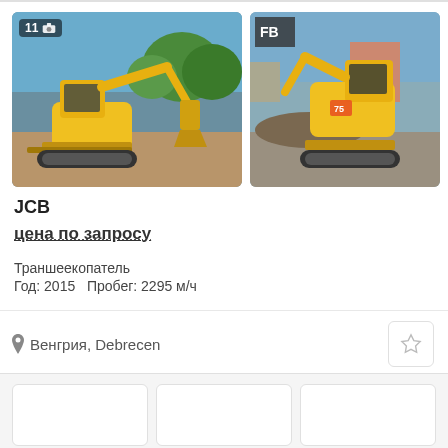[Figure (photo): Yellow JCB mini excavator (backhoe) parked on dirt ground with trees in background, left image with photo count badge showing '11' and camera icon]
[Figure (photo): Yellow JCB mini excavator viewed from the front/side in an industrial yard, right image partially cropped]
JCB
цена по запросу
Траншеекопатель
Год: 2015   Пробег: 2295 м/ч
Венгрия, Debrecen